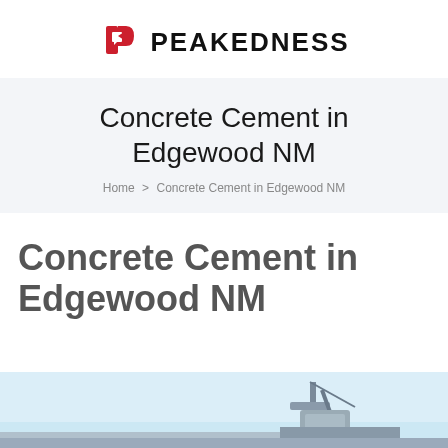[Figure (logo): Peakedness logo with red arrow P icon and bold black PEAKEDNESS text]
Concrete Cement in Edgewood NM
Home > Concrete Cement in Edgewood NM
Concrete Cement in Edgewood NM
[Figure (photo): Partial photo of concrete/cement equipment at the bottom of the page, light blue sky visible]